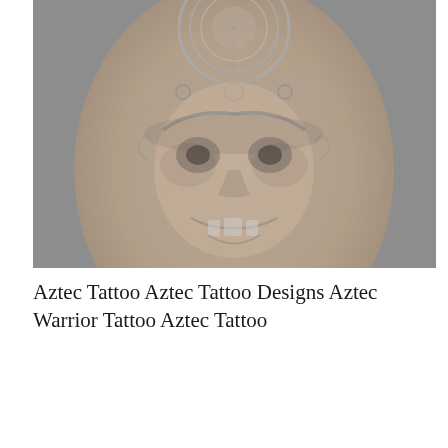[Figure (photo): A black and white tattoo on skin depicting an Aztec warrior face with an elaborate Aztec calendar/sun stone headdress above it. The tattoo is detailed with shading, showing a fierce mask-like face with ornate decorative elements.]
Aztec Tattoo Aztec Tattoo Designs Aztec Warrior Tattoo Aztec Tattoo